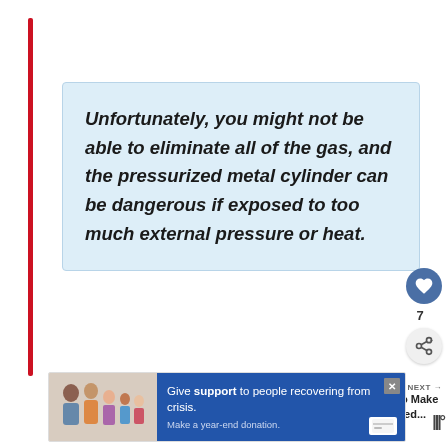Unfortunately, you might not be able to eliminate all of the gas, and the pressurized metal cylinder can be dangerous if exposed to too much external pressure or heat.
[Figure (infographic): Heart/like button (circle, blue background with white heart icon) with count 7 below it, and a share button (circle, light background with share icon)]
[Figure (infographic): What's Next section with a circular thumbnail image and text: WHAT'S NEXT → How to Make Flavored...]
[Figure (infographic): Advertisement banner: Give support to people recovering from crisis. Make a year-end donation. Shows family photo on left, blue background text area on right with close X button.]